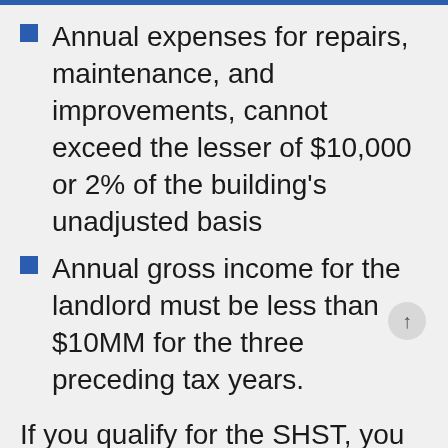Annual expenses for repairs, maintenance, and improvements, cannot exceed the lesser of $10,000 or 2% of the building's unadjusted basis
Annual gross income for the landlord must be less than $10MM for the three preceding tax years.
If you qualify for the SHST, you won't have to worry about determining if you have repairs or improvement nor will you have to worry about the